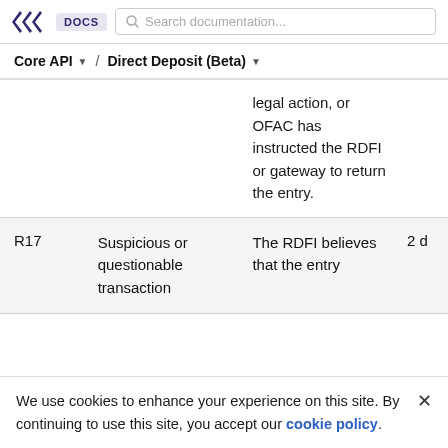>>> DOCS   Search documentation...
Core API / Direct Deposit (Beta)
| Code | Title | Description | Days |
| --- | --- | --- | --- |
|  |  | legal action, or OFAC has instructed the RDFI or gateway to return the entry. |  |
| R17 | Suspicious or questionable transaction | The RDFI believes that the entry | 2 d |
We use cookies to enhance your experience on this site. By continuing to use this site, you accept our cookie policy.